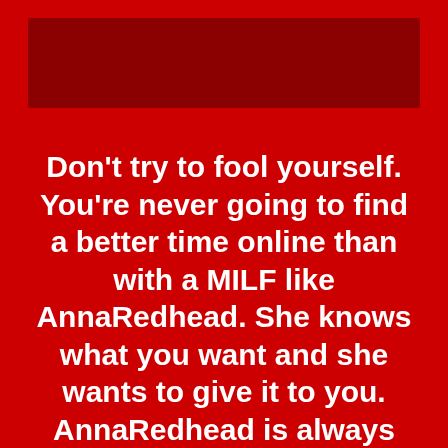[Figure (other): Dark red rectangular banner at the top of the page]
Don't try to fool yourself. You're never going to find a better time online than with a MILF like AnnaRedhead. She knows what you want and she wants to give it to you. AnnaRedhead is always ready for a good time and AnnaRedhead's friends are just as